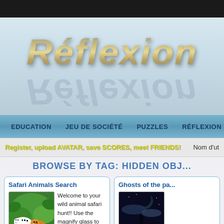[Figure (logo): Réflexion website logo with metallic italic text and mirror reflection on blue-grey gradient background]
EDUCATION   JEU DE SOCIÉTÉ   PUZZLES   RÉFLEXION   STRATÉGIE
Register, upload AVATAR, save SCORES, meet FRIENDS!   Nom d'ut...
BROWSE BY TAG: HIDDEN OBJ...
Safari Animals Search
[Figure (illustration): Safari animals including zebra and tiger cub in green jungle setting]
Welcome to your wild animal safari hunt!! Use the magnify glass to search the area for all the hidden animals. 3 levels of animal hunting, with each level releasing more animals fo [...]
★★★★★ (No Ratings Yet)
Ghosts of the pa...
[Figure (illustration): Ghostly dark atmospheric scene with figure silhouette against night sky with moon]
everyone. Use m...
★★★★★ (No Ra...